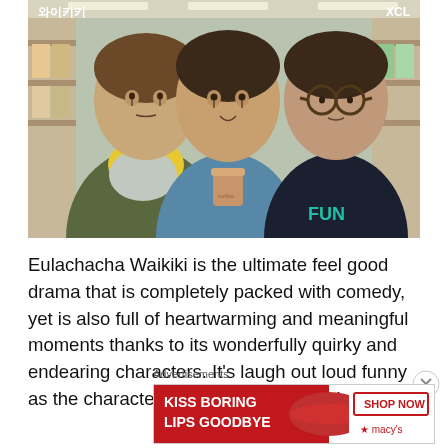[Figure (photo): Screenshot from the Korean drama Eulachacha Waikiki showing three young men standing in what appears to be a convenience store. The leftmost man wears a yellow polka-dot scarf. The middle man holds a coffee cup. The rightmost man wears round glasses and a black shirt with 'FUN' on it. Korean text '와이키키' and 'XCL' are visible in the top corners.]
Eulachacha Waikiki is the ultimate feel good drama that is completely packed with comedy, yet is also full of heartwarming and meaningful moments thanks to its wonderfully quirky and endearing characters. It's laugh out loud funny as the characters get into some completely
Advertisements
[Figure (screenshot): Advertisement banner for Macy's lipstick product. Red background on left with white text 'KISS BORING LIPS GOODBYE'. Right side shows 'SHOP NOW' button and Macy's star logo. Center shows close-up of woman's lips with red lipstick.]